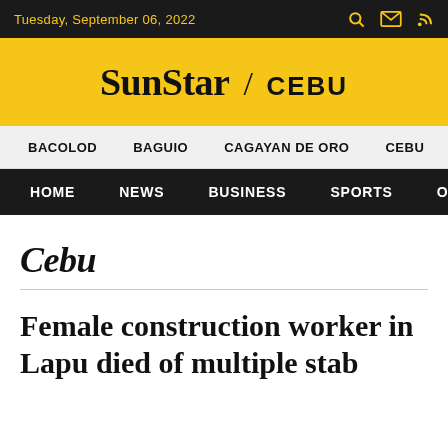Tuesday, September 06, 2022
SunStar / CEBU
BACOLOD  BAGUIO  CAGAYAN DE ORO  CEBU  DA
HOME  NEWS  BUSINESS  SPORTS  OPINION
Cebu
Female construction worker in Lapu died of multiple stab